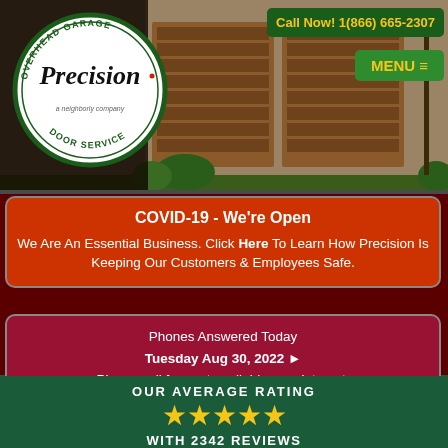[Figure (logo): Precision Overhead Garage Door Service logo - circular badge with green border, white background, text 'OVERHEAD GARAGE / Precision / DOOR SERVICE / a neighborly company']
Call Now! 1(866) 665-2307
MENU
COVID-19 - We're Open
We Are An Essential Business. Click Here To Learn How Precision Is Keeping Our Customers & Employees Safe.
Phones Answered Today
Tuesday Aug 30, 2022 ▶
Please call for next available appointment.
OUR AVERAGE RATING
★★★★★
WITH 2342 REVIEWS
CLICK
TO VIEW LOCAL PHONE NUMBERS